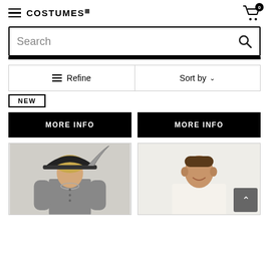COSTUMES.COM — navigation header with hamburger menu and cart (0 items)
Search
≡ Refine   Sort by ▾
NEW
MORE INFO
MORE INFO
[Figure (photo): Woman in pirate costume with feathered hat and grey jacket]
[Figure (photo): Man in white renaissance/pirate shirt smiling]